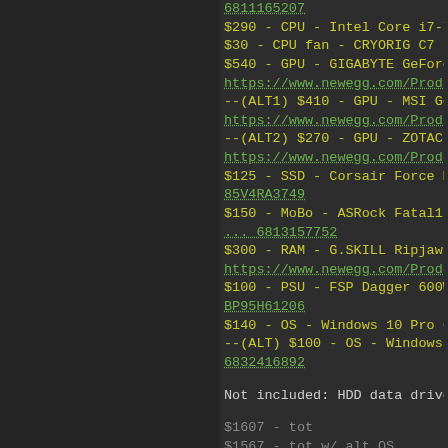6811165207
$290 - CPU - Intel Core i7-7700K - https://a...
$30 - CPU fan - CRYORIG C7 - https://ww...
$540 - GPU - GIGABYTE GeForce GTX 1...
https://www.newegg.com/Product/Product...
--(ALT1) $410 - GPU - MSI GeForce GTX...
https://www.newegg.com/Product/Product...
--(ALT2) $270 - GPU - ZOTAC GeForce G...
https://www.newegg.com/Product/Product...
$125 - SSD - Corsair Force MP500 M.2 2...
85V4RA3749
$150 - MoBo - ASRock Fatal1ty Z270 GAM...
... 6813157752
$300 - RAM - G.SKILL Ripjaws V Series 3...
https://www.newegg.com/Product/Product...
$100 - PSU - FSP Dagger 600W Mini ITX...
BP95H61206
$140 - OS - Windows 10 Pro 64 bit OEM -...
--(ALT) $100 - OS - Windows 10 Home 64...
6832416892
Not included: HDD data drive (~$100-200)
$1607 - tot
$1567 - tot w/ alt OS